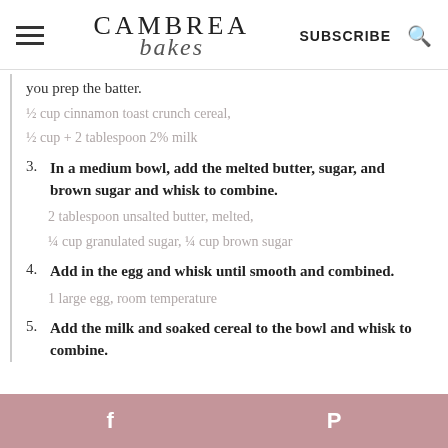CAMBREA bakes — SUBSCRIBE
you prep the batter.
½ cup cinnamon toast crunch cereal,
½ cup + 2 tablespoon 2% milk
3. In a medium bowl, add the melted butter, sugar, and brown sugar and whisk to combine.
2 tablespoon unsalted butter, melted,
¼ cup granulated sugar, ¼ cup brown sugar
4. Add in the egg and whisk until smooth and combined.
1 large egg, room temperature
5. Add the milk and soaked cereal to the bowl and whisk to combine.
f  P